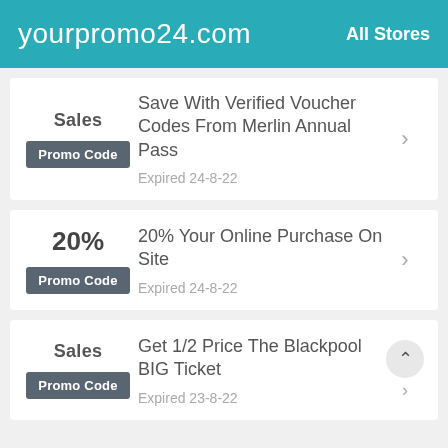yourpromo24.com  All Stores
Sales | Save With Verified Voucher Codes From Merlin Annual Pass | Promo Code | Expired 24-8-22
20% | 20% Your Online Purchase On Site | Promo Code | Expired 24-8-22
Sales | Get 1/2 Price The Blackpool BIG Ticket | Promo Code | Expired 23-8-22